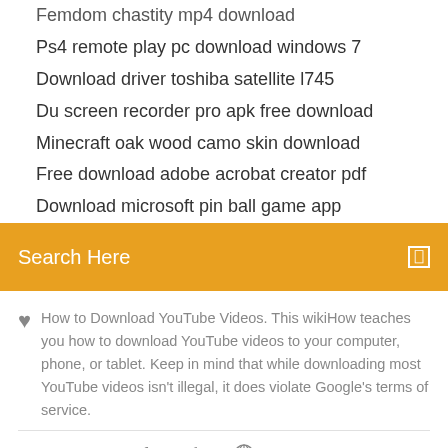Femdom chastity mp4 download
Ps4 remote play pc download windows 7
Download driver toshiba satellite l745
Du screen recorder pro apk free download
Minecraft oak wood camo skin download
Free download adobe acrobat creator pdf
Download microsoft pin ball game app
Search Here
How to Download YouTube Videos. This wikiHow teaches you how to download YouTube videos to your computer, phone, or tablet. Keep in mind that while downloading most YouTube videos isn't illegal, it does violate Google's terms of service.
[Figure (other): Social sharing icons: Facebook (f), Twitter bird, a circular icon, and Behance (Be)]
[Figure (other): Bottom image area with caption: VLC Remote Free app for ios. Download VLC]
VLC Remote Free app for ios. Download VLC